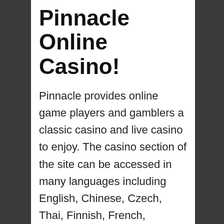Pinnacle Online Casino!
Pinnacle provides online game players and gamblers a classic casino and live casino to enjoy. The casino section of the site can be accessed in many languages including English, Chinese, Czech, Thai, Finnish, French, German, Hebrew, Indonesian, Italian, Japanese, Korean, Norwegian, Polish, Portuguese, Russian, Spanish, and Swedish. Unfortunately, you can't currently play your favorite slot, card, and table games via the site's mobile service, but this option will be available in the near